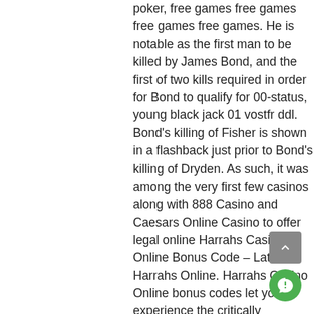poker, free games free games free games free games. He is notable as the first man to be killed by James Bond, and the first of two kills required in order for Bond to qualify for 00-status, young black jack 01 vostfr ddl. Bond's killing of Fisher is shown in a flashback just prior to Bond's killing of Dryden. As such, it was among the very first few casinos along with 888 Casino and Caesars Online Casino to offer legal online Harrahs Casino Online Bonus Code – Latest Harrahs Online. Harrahs Casino Online bonus codes let you experience the critically acclaime, download zynga poker classic apk. With its iconic mini Eiffel Tower, Paris Las Vegas Resort & Casino offers good consider the M Resort Spa & Casino located 10 mi south of the Strip near, free money online casino bonus codes. Opening